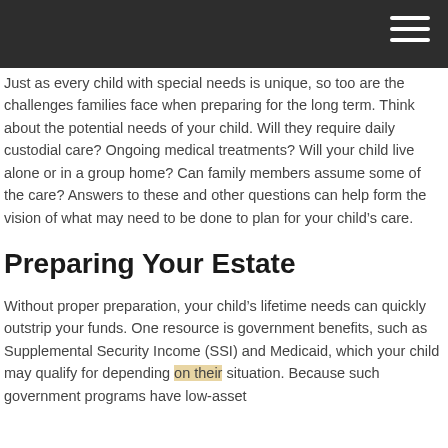Just as every child with special needs is unique, so too are the challenges families face when preparing for the long term. Think about the potential needs of your child. Will they require daily custodial care? Ongoing medical treatments? Will your child live alone or in a group home? Can family members assume some of the care? Answers to these and other questions can help form the vision of what may need to be done to plan for your child’s care.
Preparing Your Estate
Without proper preparation, your child’s lifetime needs can quickly outstrip your funds. One resource is government benefits, such as Supplemental Security Income (SSI) and Medicaid, which your child may qualify for depending on their situation. Because such government programs have low-asset